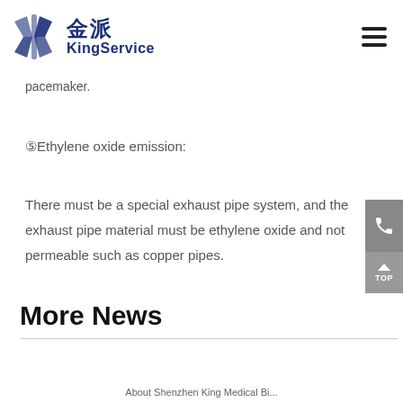金派 KingService
pacemaker.
⑤Ethylene oxide emission:
There must be a special exhaust pipe system, and the exhaust pipe material must be ethylene oxide and not permeable such as copper pipes.
More News
About Shenzhen King Medical Bi...